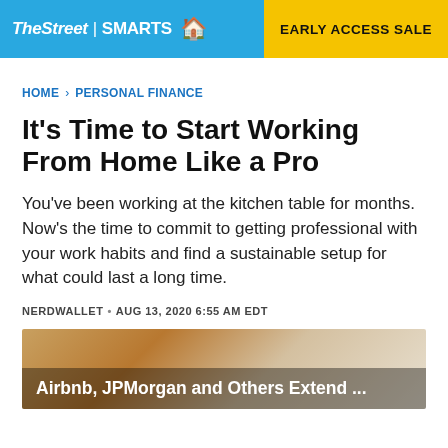TheStreet | SMARTS — EARLY ACCESS SALE
HOME > PERSONAL FINANCE
It's Time to Start Working From Home Like a Pro
You've been working at the kitchen table for months. Now's the time to commit to getting professional with your work habits and find a sustainable setup for what could last a long time.
NERDWALLET • AUG 13, 2020 6:55 AM EDT
[Figure (photo): Teaser card image with text: Airbnb, JPMorgan and Others Extend ...]